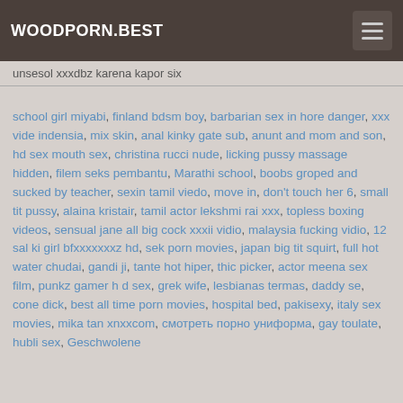WOODPORN.BEST
unsesol xxxdbz karena kapor six
school girl miyabi, finland bdsm boy, barbarian sex in hore danger, xxx vide indensia, mix skin, anal kinky gate sub, anunt and mom and son, hd sex mouth sex, christina rucci nude, licking pussy massage hidden, filem seks pembantu, Marathi school, boobs groped and sucked by teacher, sexin tamil viedo, move in, don't touch her 6, small tit pussy, alaina kristair, tamil actor lekshmi rai xxx, topless boxing videos, sensual jane all big cock xxxii vidio, malaysia fucking vidio, 12 sal ki girl bfxxxxxxxz hd, sek porn movies, japan big tit squirt, full hot water chudai, gandi ji, tante hot hiper, thic picker, actor meena sex film, punkz gamer h d sex, grek wife, lesbianas termas, daddy se, cone dick, best all time porn movies, hospital bed, pakisexy, italy sex movies, mika tan xnxxcom, смотреть порно униформа, gay toulate, hubli sex, Geschwolene